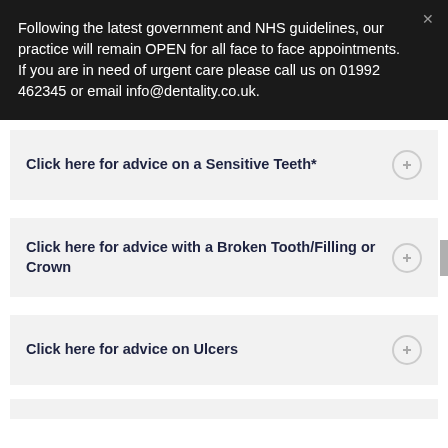Following the latest government and NHS guidelines, our practice will remain OPEN for all face to face appointments. If you are in need of urgent care please call us on 01992 462345 or email info@dentality.co.uk.
Click here for advice on a Sensitive Teeth*
Click here for advice with a Broken Tooth/Filling or Crown
Click here for advice on Ulcers